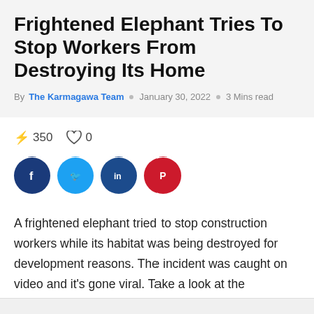Frightened Elephant Tries To Stop Workers From Destroying Its Home
By The Karmagawa Team  ○  January 30, 2022  ○  3 Mins read
⚡ 350   ♡ 0
[Figure (other): Social media share buttons: Facebook (dark blue), Twitter (light blue), LinkedIn (dark blue), Pinterest (red)]
A frightened elephant tried to stop construction workers while its habitat was being destroyed for development reasons. The incident was caught on video and it's gone viral. Take a look at the heartbreaking footage here: